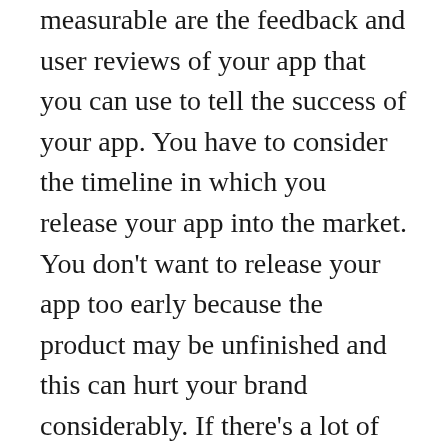measurable are the feedback and user reviews of your app that you can use to tell the success of your app. You have to consider the timeline in which you release your app into the market. You don't want to release your app too early because the product may be unfinished and this can hurt your brand considerably. If there's a lot of competition and better products on the market, you could tarnish your brand quickly. You also don't want to wait too long if you have a lot of money invested in your product as it might not succeed. You have to release the app at the right time and then modify the app so you meet the needs of those using the app.
By using these four strategies will help you refine your app and gain an understanding of